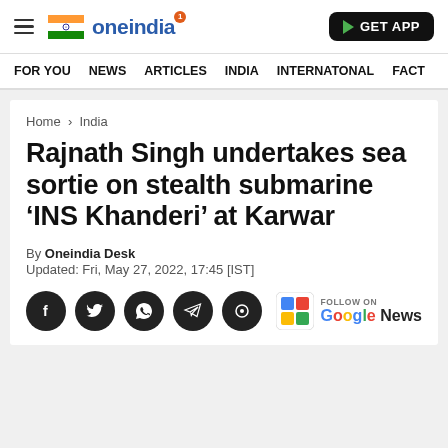oneindia — GET APP
FOR YOU  NEWS  ARTICLES  INDIA  INTERNATONAL  FACT
Home > India
Rajnath Singh undertakes sea sortie on stealth submarine 'INS Khanderi' at Karwar
By Oneindia Desk
Updated: Fri, May 27, 2022, 17:45 [IST]
[Figure (infographic): Social share buttons (Facebook, Twitter, WhatsApp, Telegram, Koo) and Follow on Google News button]